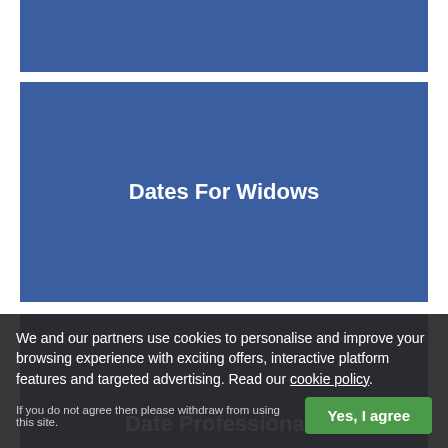[Figure (other): Blue banner block at top, partial/cropped]
Dates For Widows
Date Professionals
Date No Strings
We and our partners use cookies to personalise and improve your browsing experience with exciting offers, interactive platform features and targeted advertising. Read our cookie policy.
If you do not agree then please withdraw from using this site.